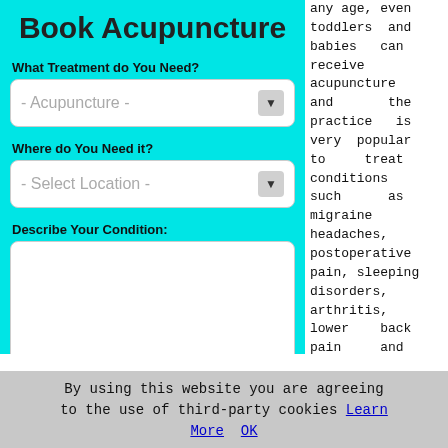Book Acupuncture
What Treatment do You Need?
- Acupuncture -
Where do You Need it?
- Select Location -
Describe Your Condition:
SUBMIT
any age, even toddlers and babies can receive acupuncture and the practice is very popular to treat conditions such as migraine headaches, postoperative pain, sleeping disorders, arthritis, lower back pain and anxiety. The top acupuncturists will generally
By using this website you are agreeing to the use of third-party cookies Learn More  OK